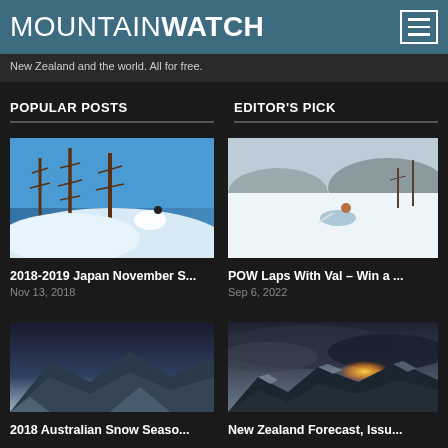MOUNTAINWATCH
New Zealand and the world. All for free.
POPULAR POSTS
EDITOR'S PICK
[Figure (photo): Skier in deep powder snow among bare trees on a blue-sky winter day in Japan]
2018-2019 Japan November S...
Nov 13, 2018
[Figure (photo): Snowboarder making a powder turn on a snowy open slope with bare trees in the background]
POW Laps With Val – Win a ...
Sep 6, 2022
[Figure (photo): Snowy mountain terrain with dramatic cloudy sky and setting sun]
2018 Australian Snow Seaso...
[Figure (photo): Mountain range with sunset through cloudy sky over snow-covered ridges]
New Zealand Forecast, Issu...